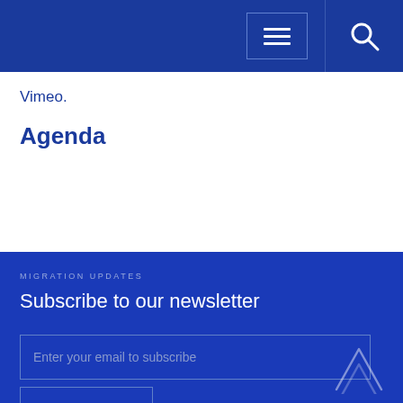Vimeo.
Agenda
MIGRATION UPDATES
Subscribe to our newsletter
Enter your email to subscribe
SUBSCRIBE